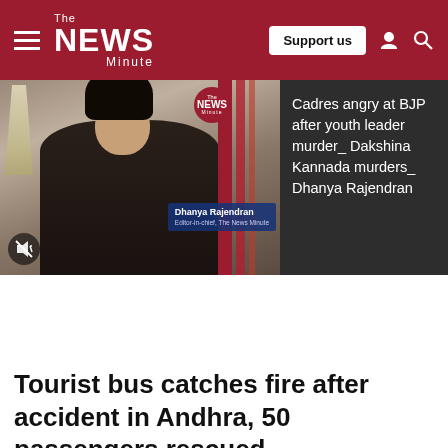The News Minute — Navigation bar with Support us button
[Figure (screenshot): Video thumbnail showing Dhanya Rajendran, Editor-in-chief of The News Minute, with red graphic overlay and TNM logo circle, with mute icon visible]
Cadres angry at BJP after youth leader murder_ Dakshina Kannada murders_ Dhanya Rajendran
Tourist bus catches fire after accident in Andhra, 50 passengers rescued